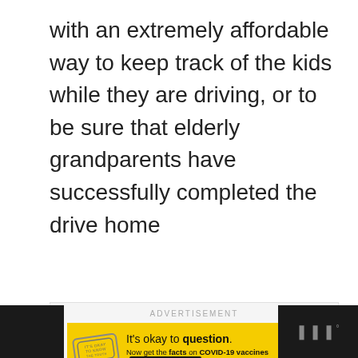with an extremely affordable way to keep track of the kids while they are driving, or to be sure that elderly grandparents have successfully completed the drive home
[Figure (screenshot): Advertisement banner with yellow background. Text reads: 'It's okay to question. Now get the facts on COVID-19 vaccines GetVaccineAnswers.org'. Has a stamp graphic on the left and a close (X) button in the top right corner. Labeled ADVERTISEMENT above.]